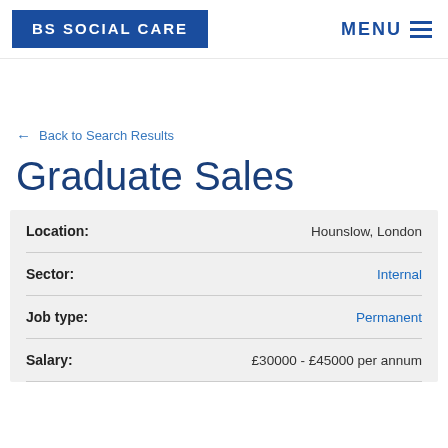BS SOCIAL CARE
← Back to Search Results
Graduate Sales
| Field | Value |
| --- | --- |
| Location: | Hounslow, London |
| Sector: | Internal |
| Job type: | Permanent |
| Salary: | £30000 - £45000 per annum |